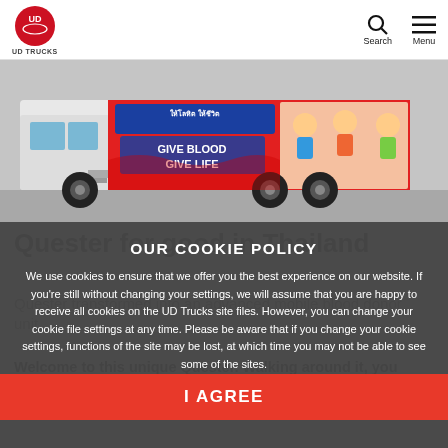UD TRUCKS | Search | Menu
[Figure (photo): A UD Trucks Quester truck with colorful cartoon 'Give Blood Give Life' blood donation campaign artwork on its side, parked at a facility.]
Quester for good in Thailand
Quester transformed into an advanced mobile blood donor unit.
Welcome to this unique Quester. Walking around it, you would hardly recognize it as a truck. A road giant that usually moves heavy loads of goods or materials now
OUR COOKIE POLICY
We use cookies to ensure that we offer you the best experience on our website. If you're still without changing your settings, we will assume that you are happy to receive all cookies on the UD Trucks site files. However, you can change your cookie file settings at any time. Please be aware that if you change your cookie settings, functions of the site may be lost, at which time you may not be able to see some of the sites.
I AGREE